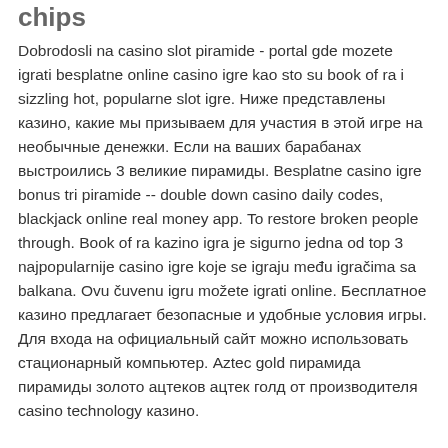chips
Dobrodosli na casino slot piramide - portal gde mozete igrati besplatne online casino igre kao sto su book of ra i sizzling hot, popularne slot igre. Ниже представлены казино, какие мы призываем для участия в этой игре на необычные денежки. Если на ваших барабанах выстроились 3 великие пирамиды. Besplatne casino igre bonus tri piramide -- double down casino daily codes, blackjack online real money app. To restore broken people through. Book of ra kazino igra je sigurno jedna od top 3 najpopularnije casino igre koje se igraju među igračima sa balkana. Ovu čuvenu igru možete igrati online. Бесплатное казино предлагает безопасные и удобные условия игры. Для входа на официальный сайт можно использовать стационарный компьютер. Aztec gold пирамида пирамиды золото ацтеков ацтек голд от производителя casino technology казино.